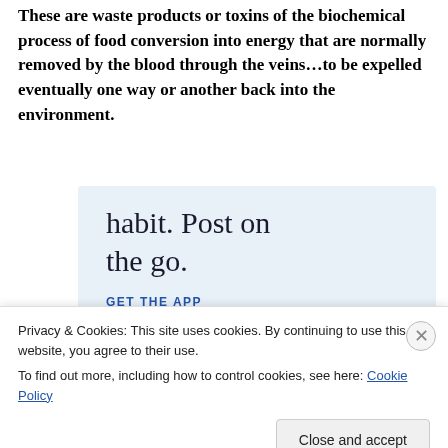These are waste products or toxins of the biochemical process of food conversion into energy that are normally removed by the blood through the veins…to be expelled eventually one way or another back into the environment.
[Figure (screenshot): WordPress app advertisement showing 'habit. Post on the go.' with GET THE APP call to action and WordPress logo icon]
Privacy & Cookies: This site uses cookies. By continuing to use this website, you agree to their use.
To find out more, including how to control cookies, see here: Cookie Policy
Close and accept